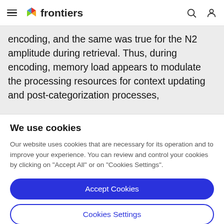frontiers
encoding, and the same was true for the N2 amplitude during retrieval. Thus, during encoding, memory load appears to modulate the processing resources for context updating and post-categorization processes,
We use cookies
Our website uses cookies that are necessary for its operation and to improve your experience. You can review and control your cookies by clicking on "Accept All" or on "Cookies Settings".
Accept Cookies
Cookies Settings